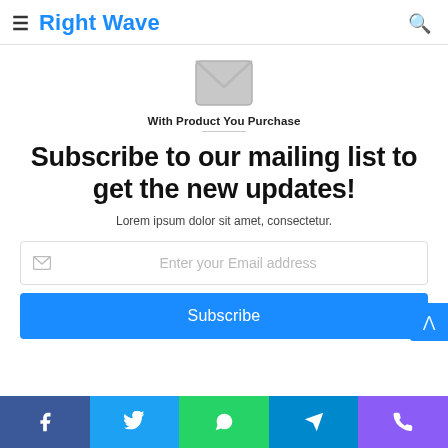Right Wave
[Figure (illustration): Grey envelope icon]
With Product You Purchase
Subscribe to our mailing list to get the new updates!
Lorem ipsum dolor sit amet, consectetur.
[Figure (screenshot): Email input field with placeholder 'Enter your Email address']
Subscribe
[Figure (illustration): Social share bar with Facebook, Twitter, WhatsApp, Telegram, Phone icons]